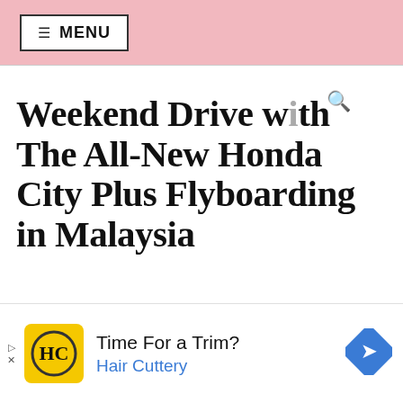≡ MENU
Weekend Drive with The All-New Honda City Plus Flyboarding in Malaysia
[Figure (photo): Woman standing in front of Rail Canteen restaurant/canteen entrance with glass architecture]
[Figure (infographic): Advertisement: Time For a Trim? Hair Cuttery logo with yellow background and navigation arrow icon]